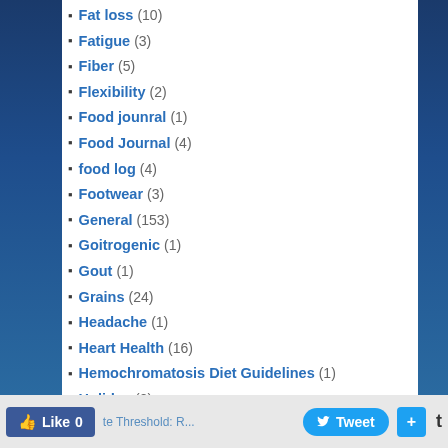Fat loss (10)
Fatigue (3)
Fiber (5)
Flexibility (2)
Food jounral (1)
Food Journal (4)
food log (4)
Footwear (3)
General (153)
Goitrogenic (1)
Gout (1)
Grains (24)
Headache (1)
Heart Health (16)
Hemochromatosis Diet Guidelines (1)
Holiday (2)
Hypothyroid (1)
Injury (3)
Juicing (1)
Kidney Stones (2)
Like 0   Tweet   +   t